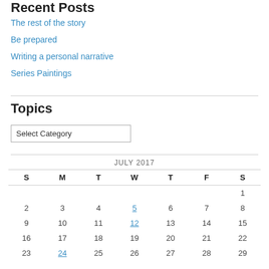Recent Posts
The rest of the story
Be prepared
Writing a personal narrative
Series Paintings
Topics
Select Category
| S | M | T | W | T | F | S |
| --- | --- | --- | --- | --- | --- | --- |
|  |  |  |  |  |  | 1 |
| 2 | 3 | 4 | 5 | 6 | 7 | 8 |
| 9 | 10 | 11 | 12 | 13 | 14 | 15 |
| 16 | 17 | 18 | 19 | 20 | 21 | 22 |
| 23 | 24 | 25 | 26 | 27 | 28 | 29 |